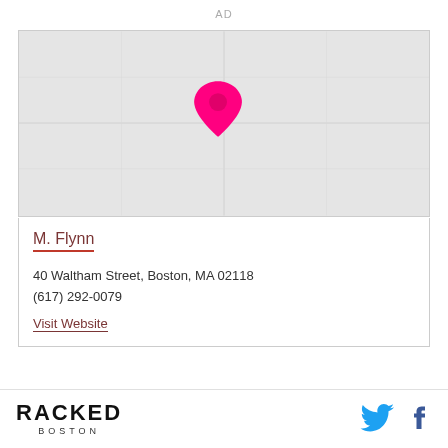AD
[Figure (map): Map showing location pin for M. Flynn at 40 Waltham Street, Boston, MA 02118. Pink/magenta location marker in center of a light gray map.]
M. Flynn
40 Waltham Street, Boston, MA 02118
(617) 292-0079
Visit Website
RACKED BOSTON